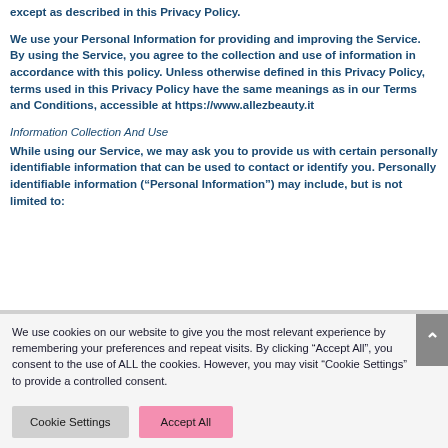except as described in this Privacy Policy.
We use your Personal Information for providing and improving the Service. By using the Service, you agree to the collection and use of information in accordance with this policy. Unless otherwise defined in this Privacy Policy, terms used in this Privacy Policy have the same meanings as in our Terms and Conditions, accessible at https://www.allezbeauty.it
Information Collection And Use
While using our Service, we may ask you to provide us with certain personally identifiable information that can be used to contact or identify you. Personally identifiable information (“Personal Information”) may include, but is not limited to:
We use cookies on our website to give you the most relevant experience by remembering your preferences and repeat visits. By clicking “Accept All”, you consent to the use of ALL the cookies. However, you may visit “Cookie Settings” to provide a controlled consent.